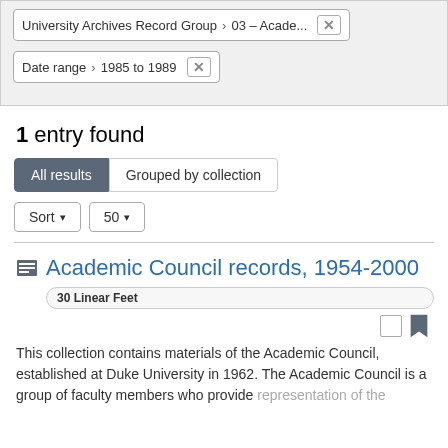University Archives Record Group › 03 – Acade... ✕
Date range › 1985 to 1989 ✕
1 entry found
All results | Grouped by collection
Sort ▾  50 ▾
Academic Council records, 1954-2000
30 Linear Feet
This collection contains materials of the Academic Council, established at Duke University in 1962. The Academic Council is a group of faculty members who provide representation of the